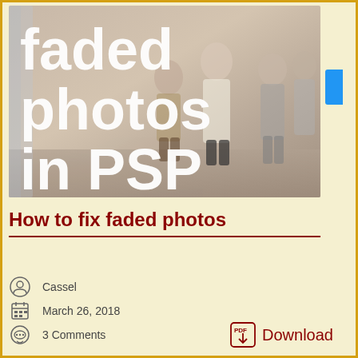[Figure (photo): A faded old photograph of a group of people with large white text overlay reading 'faded photos in PSP']
How to fix faded photos
Cassel
March 26, 2018
3 Comments
Download